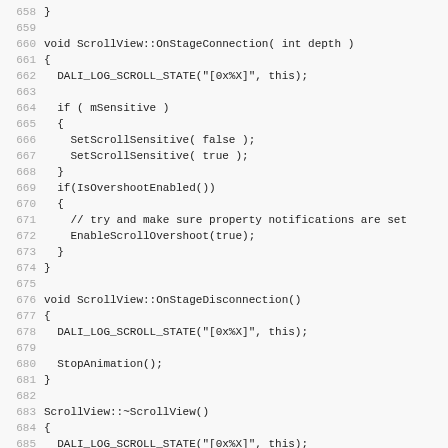Source code listing lines 658-690, ScrollView C++ implementation including OnStageConnection, OnStageDisconnection, ~ScrollView destructor, and GetScrollSnapAlphaFunction methods.